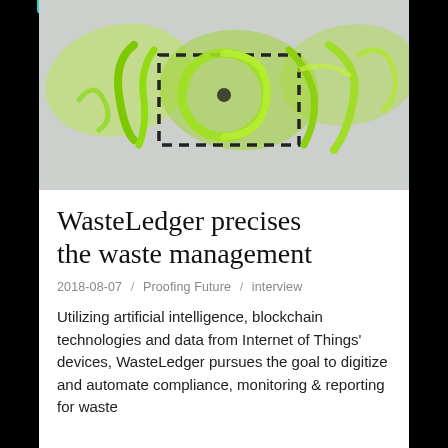[Figure (photo): Close-up photo of a logo or handwritten-style text/graphic in green/yellow-green ink on a light grey/blue textured background, with black dashed rectangle overlay. The text appears stylized and partially legible.]
WasteLedger precises the waste management
2018-08-07 / Proofing Future / interview
Utilizing artificial intelligence, blockchain technologies and data from Internet of Things' devices, WasteLedger pursues the goal to digitize and automate compliance, monitoring & reporting for waste...